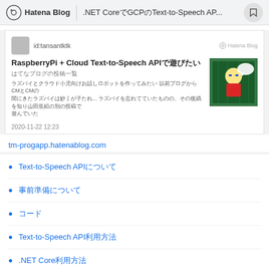Hatena Blog  .NET CoreでGCPのText-to-Speech AP...
id:tansantktk
RaspberryPi + Cloud Text-to-Speech APIで遊びたい
はてなブログの投稿一覧
ラズパイとクラウド小孩向けお話しロボットを作ってみたい 以前プログからCMとCMの間にきたラズパイは唯々が孩たれ... ラズパイを忘れてていたものの、その後孓を知り山田造組の別の投稿で
2020-11-22 12:23
tm-progapp.hatenablog.com
Text-to-Speech APIについて
事前準備について
コード
Text-to-Speech API利用方法
.NET Core利用方法
NuGetパッケージのインストール